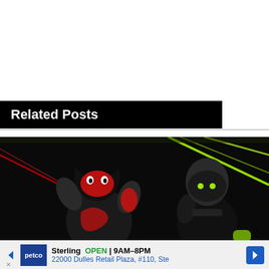Related Posts
[Figure (screenshot): Two Fortnite game characters in dark environment with neon laser beams — one with a red demon mask and red swirl chest design raising fist, another in dark tactical gear with helmet]
[Figure (infographic): Petco advertisement banner: Sterling OPEN 9AM-8PM, 22000 Dulles Retail Plaza, #110, Ste]